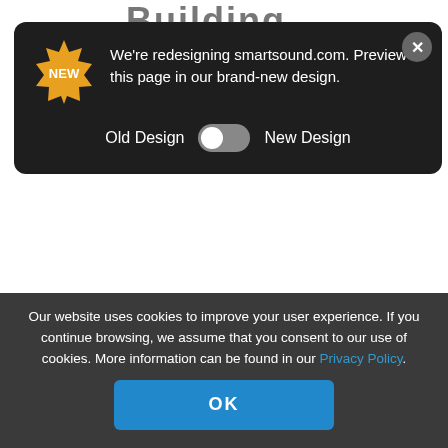Building...
[Figure (screenshot): Dark modal popup with NEW badge, toggle switch between Old Design and New Design, and close button. Message: We're redesigning smartsound.com. Preview this page in our brand-new design.]
TRACK INFORMATION
Description
Scenes of loneliness or love lost come to mind in this touching piano solo.
Our website uses cookies to improve your user experience. If you continue browsing, we assume that you consent to our use of cookies. More information can be found in our Privacy Policy.
OK